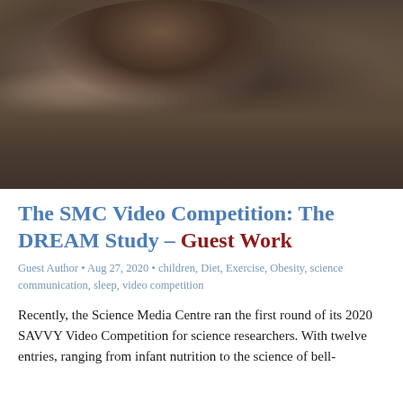[Figure (photo): A person sleeping, face down, covered with a grey/brown blanket or sweater, photographed in dark moody tones]
The SMC Video Competition: The DREAM Study – Guest Work
Guest Author • Aug 27, 2020 • children, Diet, Exercise, Obesity, science communication, sleep, video competition
Recently, the Science Media Centre ran the first round of its 2020 SAVVY Video Competition for science researchers. With twelve entries, ranging from infant nutrition to the science of bell-